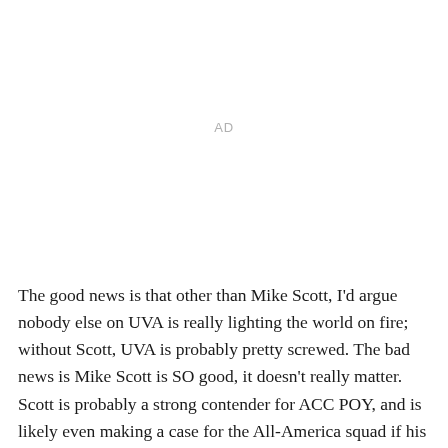AD
The good news is that other than Mike Scott, I'd argue nobody else on UVA is really lighting the world on fire; without Scott, UVA is probably pretty screwed. The bad news is Mike Scott is SO good, it doesn't really matter. Scott is probably a strong contender for ACC POY, and is likely even making a case for the All-America squad if his play continues at the level it has up to this point.